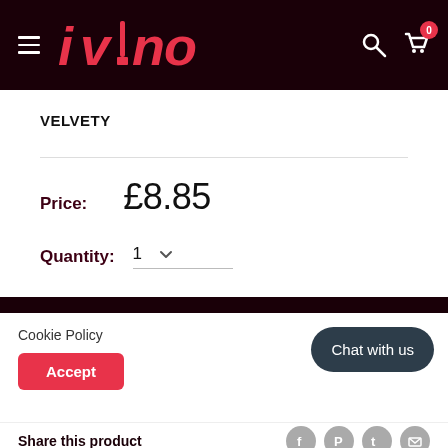[Figure (screenshot): ivino e-commerce website header with dark red/maroon background, hamburger menu icon, ivino logo in red italic, search icon, and cart icon with badge showing 0]
VELVETY
Price: £8.85
Quantity: 1
Cookie Policy
Accept
Chat with us
Share this product